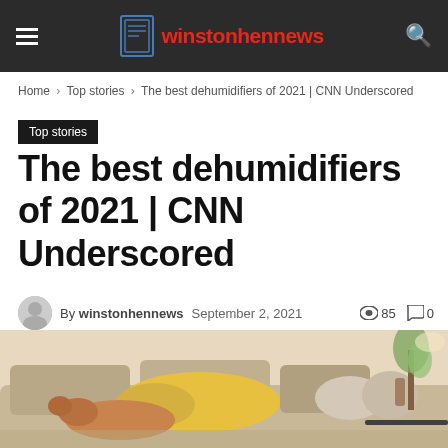winstonhennews
Home › Top stories › The best dehumidifiers of 2021 | CNN Underscored
Top stories
The best dehumidifiers of 2021 | CNN Underscored
By winstonhennews   September 2, 2021   85   0
[Figure (screenshot): Social share buttons: share icon, Facebook, Twitter, Pinterest, WhatsApp]
[Figure (photo): Person relaxing on a sofa with a dog, indoor room setting with plants and lamp in background]